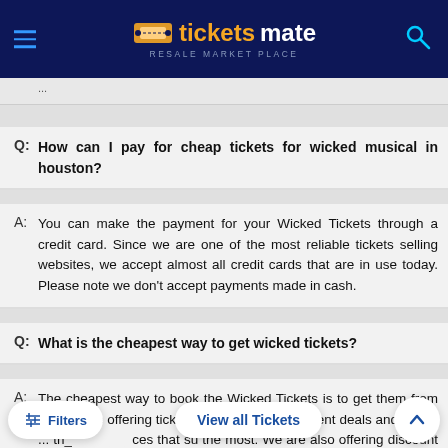ticketsmate RESALE MARKET PLACE
...
Q: How can I pay for cheap tickets for wicked musical in houston?
A: You can make the payment for your Wicked Tickets through a credit card. Since we are one of the most reliable tickets selling websites, we accept almost all credit cards that are in use today. Please note we don't accept payments made in cash.
Q: What is the cheapest way to get wicked tickets?
A: The cheapest way to book the Wicked Tickets is to get them from us. We are offering tickets on a variety of different deals and prices ... the most. We are also offering discount codes that you can avail to get